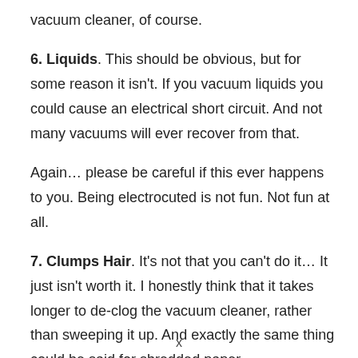vacuum cleaner, of course.
6. Liquids. This should be obvious, but for some reason it isn't. If you vacuum liquids you could cause an electrical short circuit. And not many vacuums will ever recover from that.
Again… please be careful if this ever happens to you. Being electrocuted is not fun. Not fun at all.
7. Clumps Hair. It's not that you can't do it… It just isn't worth it. I honestly think that it takes longer to de-clog the vacuum cleaner, rather than sweeping it up. And exactly the same thing could be said for shredded paper.
x